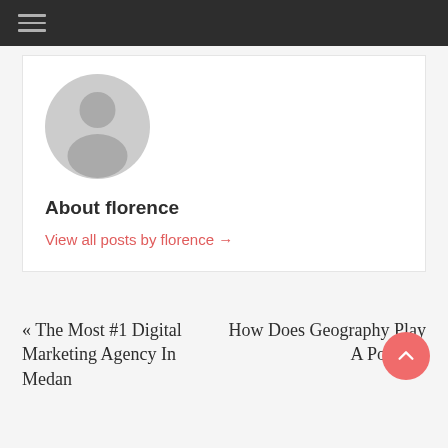Navigation menu (hamburger icon)
[Figure (illustration): Default grey avatar/profile picture showing a silhouette of a person on a light grey circle background]
About florence
View all posts by florence →
« The Most #1 Digital Marketing Agency In Medan
How Does Geography Play A Position